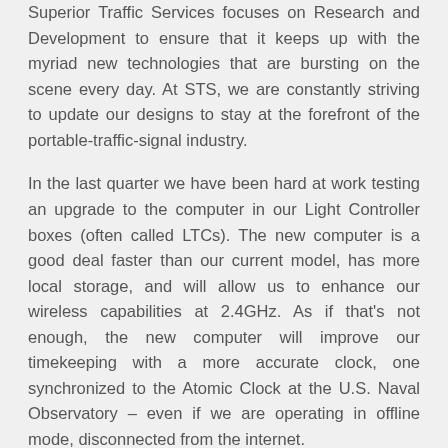Superior Traffic Services focuses on Research and Development to ensure that it keeps up with the myriad new technologies that are bursting on the scene every day. At STS, we are constantly striving to update our designs to stay at the forefront of the portable-traffic-signal industry.
In the last quarter we have been hard at work testing an upgrade to the computer in our Light Controller boxes (often called LTCs). The new computer is a good deal faster than our current model, has more local storage, and will allow us to enhance our wireless capabilities at 2.4GHz. As if that's not enough, the new computer will improve our timekeeping with a more accurate clock, one synchronized to the Atomic Clock at the U.S. Naval Observatory – even if we are operating in offline mode, disconnected from the internet.